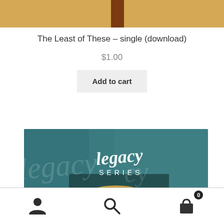[Figure (photo): Top portion of a book cover with tan/gold color and a dark brown spine visible, cropped at top of page]
The Least of These – single (download)
$1.00
Add to cart
[Figure (photo): Album or book cover with teal/blue-green background featuring 'legacy SERIES' logo text in white script and the back of a blonde person's head visible at the bottom]
Navigation bar with person icon, search icon, and shopping cart icon with badge showing 0